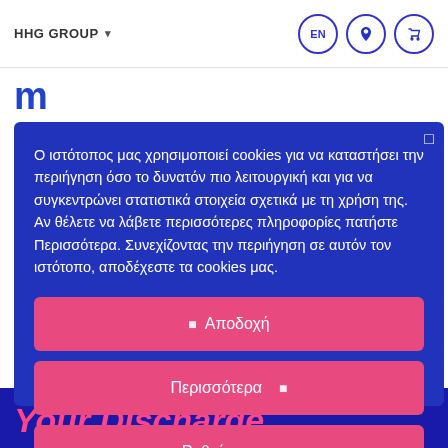HHG GROUP   EN
Ο ιστότοπος μας χρησιμοποιεί cookies για να καταστήσει την περιήγηση όσο το δυνατόν πιο λειτουργική και για να συγκεντρώνει στατιστικά στοιχεία σχετικά με τη χρήση της. Αν θέλετε να λάβετε περισσότερες πληροφορίες πατήστε Περισσότερα. Συνεχίζοντας την περιήγηση σε αυτόν τον ιστότοπο, αποδέχεστε τα cookies μας.
Αποδοχή
Περισσότερα
Ρυθμίσεις
Your Discharge